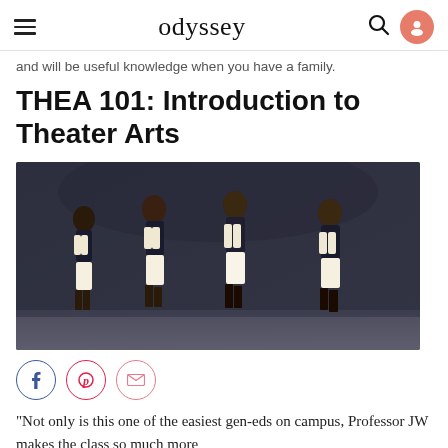odyssey
and will be useful knowledge when you have a family.
THEA 101: Introduction to Theater Arts
[Figure (photo): Four performers on stage wearing colonial-era costumes (white breeches, dark jackets, boots), mid-dance or choreographed movement in a theatrical production, likely Hamilton the musical.]
Social share icons: Facebook, Pinterest, Email
"Not only is this one of the easiest gen-eds on campus, Professor JW makes the class so much more